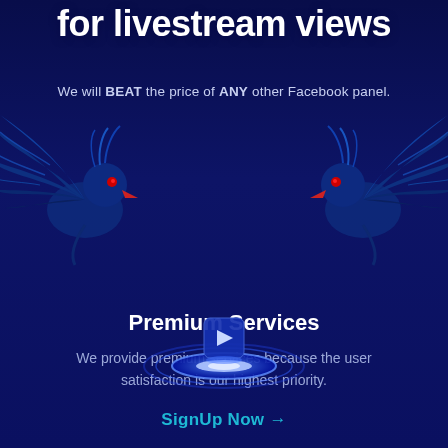for livestream views
We will BEAT the price of ANY other Facebook panel.
[Figure (illustration): Two blue phoenix/eagle bird illustrations flanking the center, with decorative wings spread outward. Dark blue color with red accents on beaks.]
[Figure (illustration): Glowing blue disc/halo with a floating video play button icon above it, creating a holographic livestream effect with blue neon glow.]
Premium Services
We provide premium services because the user satisfaction is our highest priority.
SignUp Now →